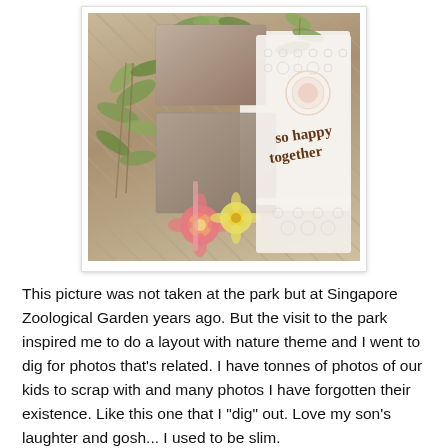[Figure (photo): A scrapbook layout photo showing a mother and young child/baby at Singapore Zoological Garden, decorated with paper flowers (pink and yellow), green foliage leaves, a white lace-punched cardstock, and a decorative text reading 'so happy together' in brown script lettering. Background has a herringbone wood-look pattern.]
This picture was not taken at the park but at Singapore Zoological Garden years ago. But the visit to the park inspired me to do a layout with nature theme and I went to dig for photos that's related. I have tonnes of photos of our kids to scrap with and many photos I have forgotten their existence. Like this one that I "dig" out. Love my son's laughter and gosh... I used to be slim.
This is a simple layout to put together. I punched the white cardstock at random places and adhere to the background